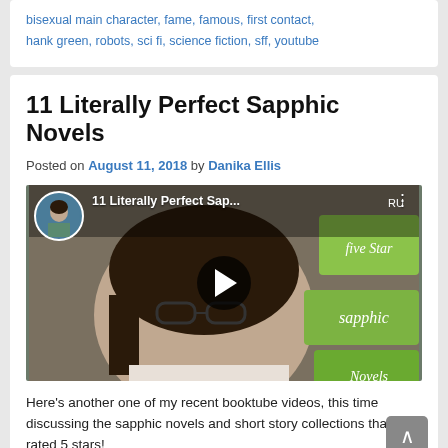bisexual main character, fame, famous, first contact, hank green, robots, sci fi, science fiction, sff, youtube
11 Literally Perfect Sapphic Novels
Posted on August 11, 2018 by Danika Ellis
[Figure (screenshot): YouTube video thumbnail showing a person with glasses smiling, with text overlay '11 Literally Perfect Sap...' and a play button in the center. Green signs with cursive text visible in background.]
Here's another one of my recent booktube videos, this time discussing the sapphic novels and short story collections that I've rated 5 stars!